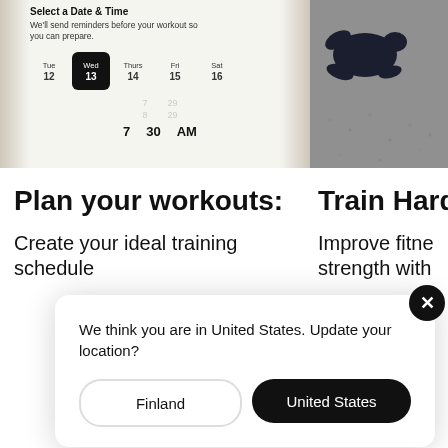[Figure (screenshot): Phone app screenshot showing workout scheduler with day picker (Tue 12, Wed 13 selected, Thurs 14, Fri 15, Sat 16) and time set to 7:30 AM]
[Figure (photo): Turtle silhouette on pavement/gravel surface, partial view cut off on right side]
Plan your workouts:
Train Hard
Create your ideal training schedule
Improve fitness strength with
We think you are in United States. Update your location?
Finland
United States